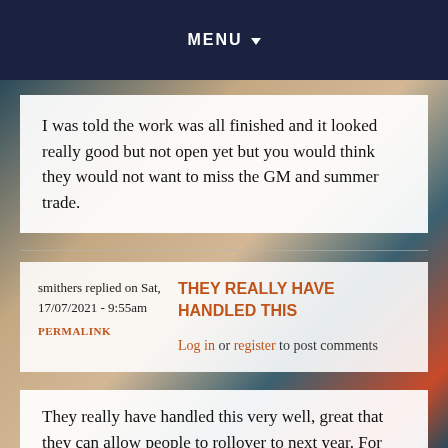MENU
I was told the work was all finished and it looked really good but not open yet but you would think they would not want to miss the GM and summer trade.
smithers replied on Sat, 17/07/2021 - 9:55am
PERMALINK
THEY REALLY HAVE HANDLED THIS
Log in or register to post comments
They really have handled this very well, great that they can allow people to rollover to next year. For